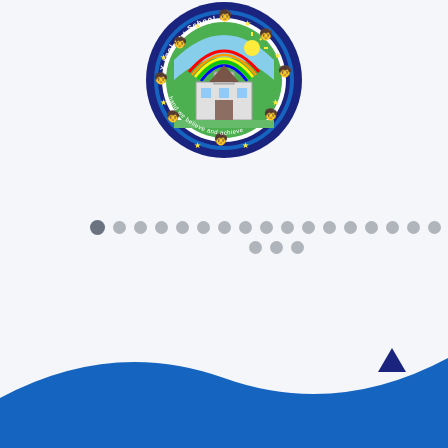[Figure (logo): School circular logo with colorful figures of children around the border, a school building in the center on green background with rainbow, and text reading 'Y sgol' and 'School' around the top and 'hand we believe and achieve' around the bottom.]
[Figure (other): Pagination dots: one dark active dot followed by multiple lighter grey dots in two rows, indicating a slideshow or multi-page navigation element.]
[Figure (other): Dark navy upward-pointing arrow icon for scrolling or navigation.]
[Figure (illustration): Blue curved wave/arc shape at the bottom of the page as a decorative footer element.]